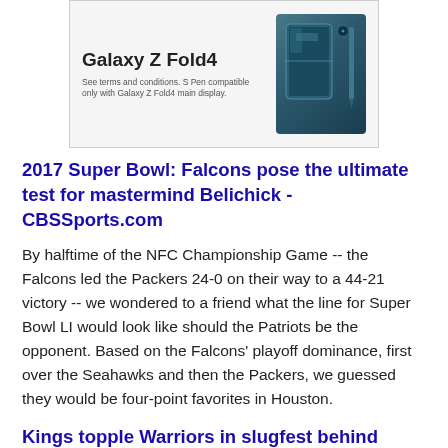[Figure (photo): Advertisement for Samsung Galaxy Z Fold4 smartphone showing the device and a stylus against a teal/dark background, with ad text and terms]
2017 Super Bowl: Falcons pose the ultimate test for mastermind Belichick - CBSSports.com
By halftime of the NFC Championship Game -- the Falcons led the Packers 24-0 on their way to a 44-21 victory -- we wondered to a friend what the line for Super Bowl LI would look like should the Patriots be the opponent. Based on the Falcons' playoff dominance, first over the Seahawks and then the Packers, we guessed they would be four-point favorites in Houston.
Kings topple Warriors in slugfest behind Cousins while Pacers dismantle... - CBSSports...